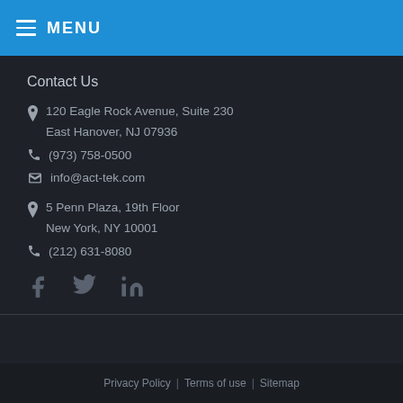MENU
Contact Us
120 Eagle Rock Avenue, Suite 230
East Hanover, NJ 07936
(973) 758-0500
info@act-tek.com
5 Penn Plaza, 19th Floor
New York, NY 10001
(212) 631-8080
[Figure (infographic): Social media icons: Facebook (f), Twitter (bird), LinkedIn (in)]
Privacy Policy | Terms of use | Sitemap